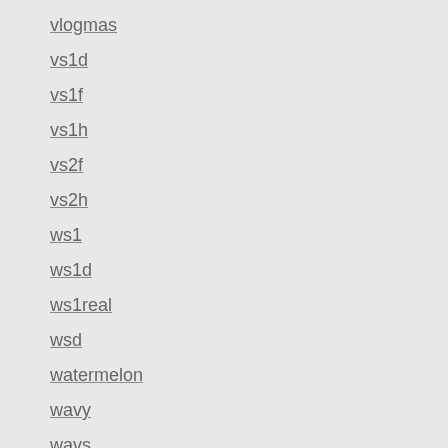vlogmas
vs1d
vs1f
vs1h
vs2f
vs2h
ws1
ws1d
ws1real
wsd
watermelon
wavy
wavs